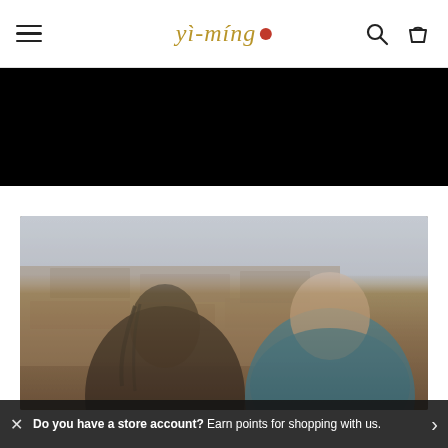yi-ming (logo) with hamburger menu, search and cart icons
[Figure (photo): Black banner/video placeholder below header]
[Figure (photo): Two male models photographed outdoors against a stone wall background; left model has dreadlocks wearing dark clothing, right model wearing blue patterned jacket]
Do you have a store account? Earn points for shopping with us.